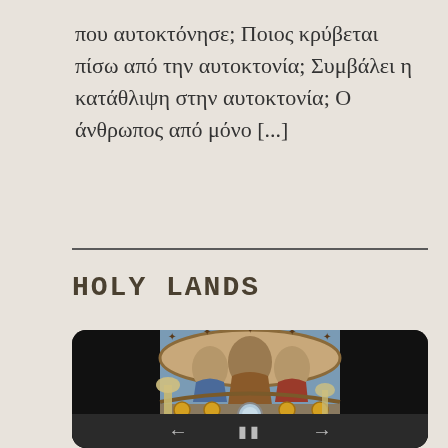που αυτοκτόνησε; Ποιος κρύβεται πίσω από την αυτοκτονία; Συμβάλει η κατάθλιψη στην αυτοκτονία; Ο άνθρωπος από μόνο [...]
HOLY LANDS
[Figure (photo): Interior of an Orthodox church showing a dome with religious frescoes/mosaics depicting saints and biblical scenes, with ornate decorations and a circular window. The image is displayed in a dark-bordered frame resembling a tablet device with navigation arrows at the bottom.]